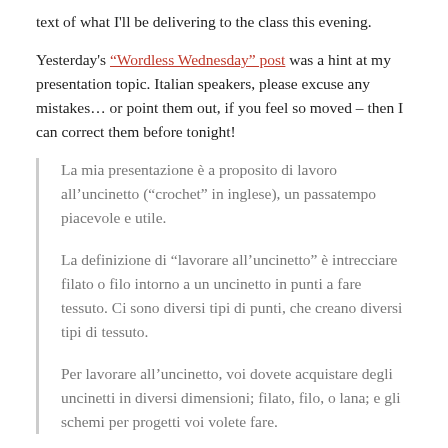text of what I'll be delivering to the class this evening.
Yesterday's "Wordless Wednesday" post was a hint at my presentation topic. Italian speakers, please excuse any mistakes… or point them out, if you feel so moved – then I can correct them before tonight!
La mia presentazione è a proposito di lavoro all'uncinetto ("crochet" in inglese), un passatempo piacevole e utile.
La definizione di "lavorare all'uncinetto" è intrecciare filato o filo intorno a un uncinetto in punti a fare tessuto. Ci sono diversi tipi di punti, che creano diversi tipi di tessuto.
Per lavorare all'uncinetto, voi dovete acquistare degli uncinetti in diversi dimensioni; filato, filo, o lana; e gli schemi per progetti voi volete fare.